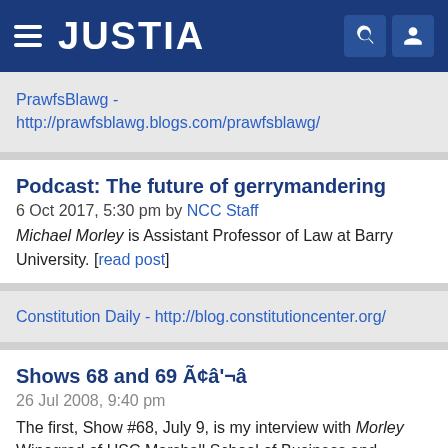JUSTIA
PrawfsBlawg - http://prawfsblawg.blogs.com/prawfsblawg/
Podcast: The future of gerrymandering
6 Oct 2017, 5:30 pm by NCC Staff
Michael Morley is Assistant Professor of Law at Barry University. [read post]
Constitution Daily - http://blog.constitutioncenter.org/
Shows 68 and 69 Ã¢â'¬â
26 Jul 2008, 9:40 pm
The first, Show #68, July 9, is my interview with Morley Winograd of USC Marshall School of Business and Michael Hais, former vice president at Frank N. [read